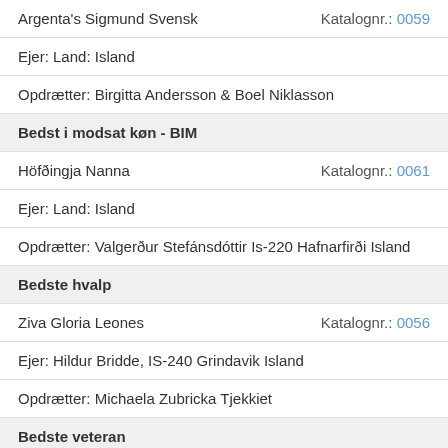Argenta's Sigmund Svensk  Katalognr.: 0059
Ejer: Land: Island
Opdrætter: Birgitta Andersson & Boel Niklasson
Bedst i modsat køn - BIM
Höfðingja Nanna  Katalognr.: 0061
Ejer: Land: Island
Opdrætter: Valgerður Stefánsdóttir Is-220 Hafnarfirði Island
Bedste hvalp
Ziva Gloria Leones  Katalognr.: 0056
Ejer: Hildur Bridde, IS-240 Grindavik Island
Opdrætter: Michaela Zubricka Tjekkiet
Bedste veteran